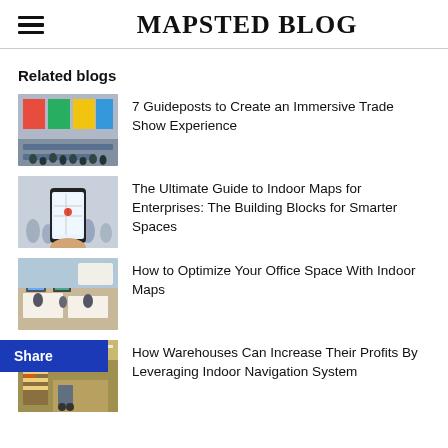MAPSTED BLOG
Related blogs
7 Guideposts to Create an Immersive Trade Show Experience
The Ultimate Guide to Indoor Maps for Enterprises: The Building Blocks for Smarter Spaces
How to Optimize Your Office Space With Indoor Maps
How Warehouses Can Increase Their Profits By Leveraging Indoor Navigation System